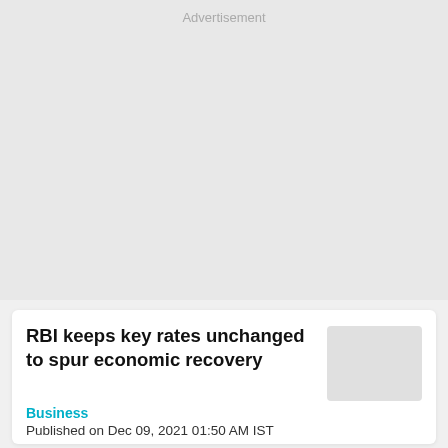Advertisement
[Figure (other): Advertisement placeholder block (grey rectangle)]
RBI keeps key rates unchanged to spur economic recovery
Business
Published on Dec 09, 2021 01:50 AM IST